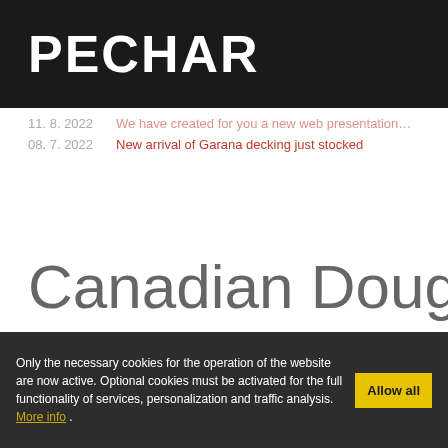PECHAR
11. 8. 2022  We have created for you a new web presentation...
08. 7. 2022  New arrival of Garana decking just stocked
Home › Products › Wooden Siding › Canadian Douglas Fir
Canadian Douglas fir, Clea mm
Only the necessary cookies for the operation of the website are now active. Optional cookies must be activated for the full functionality of services, personalization and traffic analysis. More info Allow all